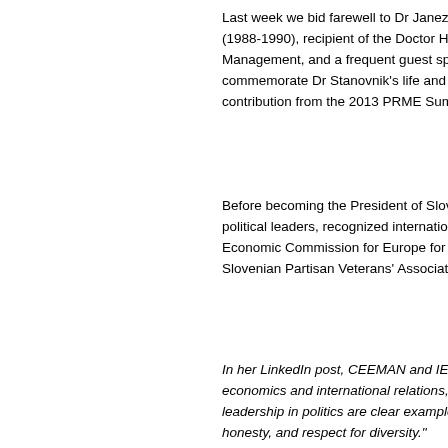Last week we bid farewell to Dr Janez Stanovnik, former Pre (1988-1990), recipient of the Doctor Honoris Causa at IEDC- Management, and a frequent guest speaker at many internat commemorate Dr Stanovnik's life and remarkable achieveme contribution from the 2013 PRME Summit in Bled.
Before becoming the President of Slovenia, Dr Stanovnik wa political leaders, recognized internationally, and has served a Economic Commission for Europe for 15 years. His last func Slovenian Partisan Veterans' Association, which he led from
In her LinkedIn post, CEEMAN and IEDC President Prof. Da economics and international relations, the great network he b leadership in politics are clear examples of the leadership ba honesty, and respect for diversity."
[Figure (photo): Stanovnik_title image (broken/unloaded image placeholder)]
Janez Stanovnik